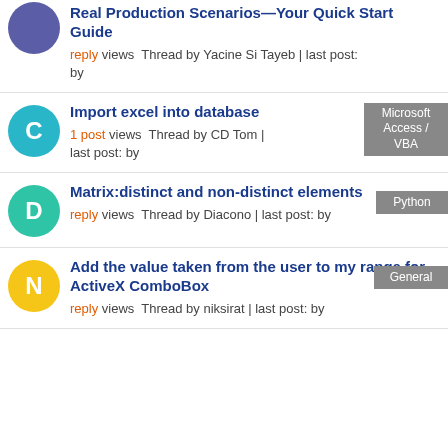Real Production Scenarios—Your Quick Start Guide
reply views Thread by Yacine Si Tayeb | last post: by
Import excel into database
1 post views Thread by CD Tom | last post: by [Microsoft Access / VBA]
Matrix:distinct and non-distinct elements
reply views Thread by Diacono | last post: by [Python]
Add the value taken from the user to my range for ActiveX ComboBox
reply views Thread by niksirat | last post: by [General]